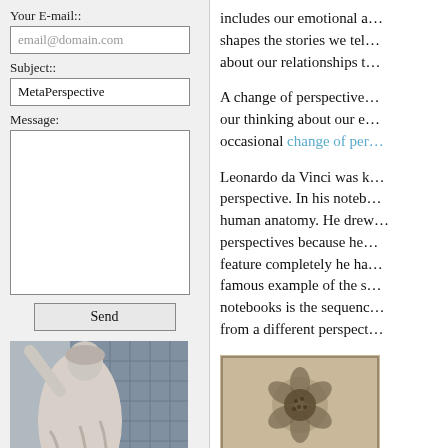Your E-mail::
email@domain.com
Subject::
MetaPerspective
Message:
Send
[Figure (photo): Photograph of a classical stone statue of a figure with raised arm, against a modern building facade with glass panels.]
includes our emotional a… shapes the stories we tel… about our relationships t…
A change of perspective… our thinking about our e… occasional change of per…
Leonardo da Vinci was k… perspective. In his noteb… human anatomy. He drew… perspectives because he… feature completely he ha… famous example of the s… notebooks is the sequenc… from a different perspect…
[Figure (photo): Sepia/black and white sketch or illustration of a flower, likely from Leonardo da Vinci's notebooks.]